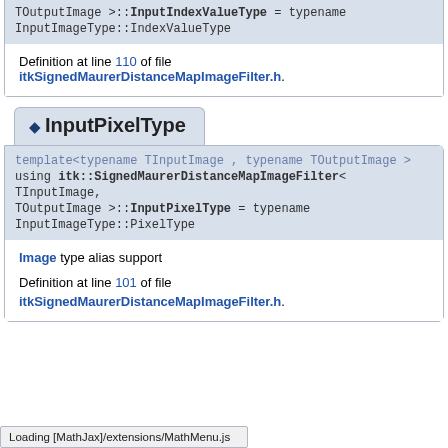TOutputImage >::InputIndexValueType = typename InputImageType::IndexValueType
Definition at line 110 of file itkSignedMaurerDistanceMapImageFilter.h.
◆ InputPixelType
template<typename TInputImage , typename TOutputImage >
using itk::SignedMaurerDistanceMapImageFilter< TInputImage, TOutputImage >::InputPixelType = typename InputImageType::PixelType
Image type alias support
Definition at line 101 of file itkSignedMaurerDistanceMapImageFilter.h.
Loading [MathJax]/extensions/MathMenu.js